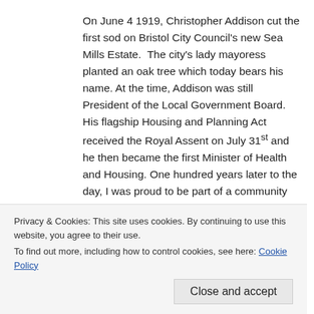On June 4 1919, Christopher Addison cut the first sod on Bristol City Council's new Sea Mills Estate. The city's lady mayoress planted an oak tree which today bears his name. At the time, Addison was still President of the Local Government Board. His flagship Housing and Planning Act received the Royal Assent on July 31st and he then became the first Minister of Health and Housing. One hundred years later to the day, I was proud to be part of a community event celebrating Addison and the estate he inaugurated.
[Figure (photo): Outdoor photograph showing trees and greenery, appears to be a park or estate setting]
Privacy & Cookies: This site uses cookies. By continuing to use this website, you agree to their use.
To find out more, including how to control cookies, see here: Cookie Policy